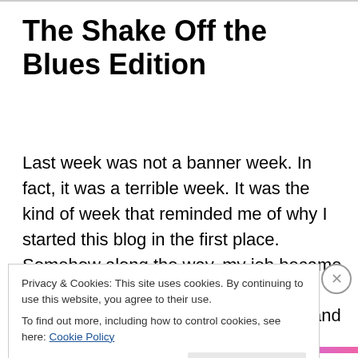The Shake Off the Blues Edition
Last week was not a banner week. In fact, it was a terrible week. It was the kind of week that reminded me of why I started this blog in the first place. Somehow along the way, my job became not fun. There is no shame or anger in that; it is a grown-up job in a cubicle-land with pleasant coworkers. However, I needed outside interests that inspired me, gave me something to look forward to
Privacy & Cookies: This site uses cookies. By continuing to use this website, you agree to their use.
To find out more, including how to control cookies, see here: Cookie Policy
Close and accept